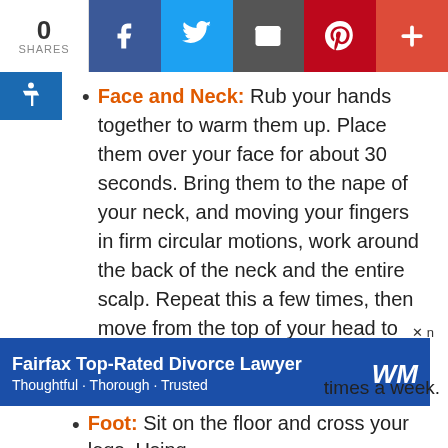[Figure (screenshot): Social share bar with 0 shares count, Facebook, Twitter, Email, Pinterest, and plus buttons]
Face and Neck: Rub your hands together to warm them up. Place them over your face for about 30 seconds. Bring them to the nape of your neck, and moving your fingers in firm circular motions, work around the back of the neck and the entire scalp. Repeat this a few times, then move from the top of your head to your face, starting between your eyebrows and moving up your forehead and down to your temples and the side of your face. Linger wherever you feel tender spots. Lastly, make sure to put a little pressure around the corners of your eyes and massage the chin, jaw, and neck. And don't forget to massage your ears — they're full of acupressure points and will help you increase
[Figure (advertisement): Fairfax Top-Rated Divorce Lawyer ad banner — Thoughtful · Thorough · Trusted with WM logo]
Foot: Sit on the floor and cross your legs. Using